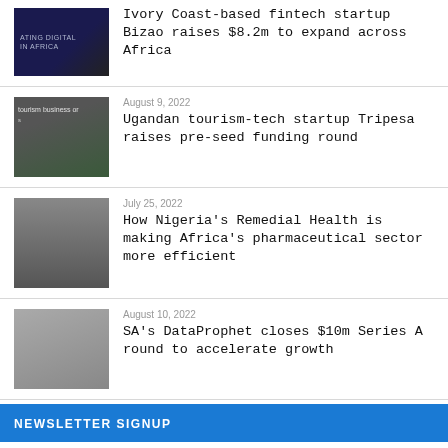Ivory Coast-based fintech startup Bizao raises $8.2m to expand across Africa
August 9, 2022 — Ugandan tourism-tech startup Tripesa raises pre-seed funding round
July 25, 2022 — How Nigeria's Remedial Health is making Africa's pharmaceutical sector more efficient
August 10, 2022 — SA's DataProphet closes $10m Series A round to accelerate growth
NEWSLETTER SIGNUP